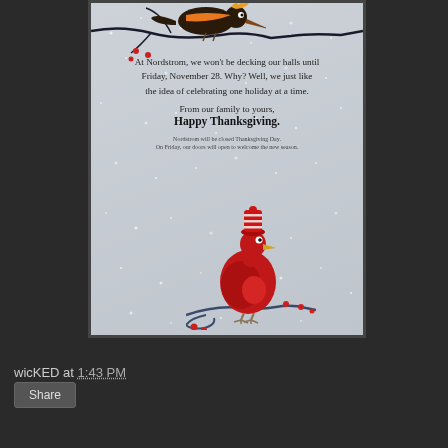[Figure (illustration): A Nordstrom holiday greeting card with a snowy speckled background. Top portion shows a stylized bird (dark brown/orange with yellow crown) perched on a dark branch with red berries. Center has text about not decking halls until November 28. Bottom portion shows a large red rounded bird wearing a striped red hat, standing on a pale branch with red berries.]
At Nordstrom, we won't be decking our halls until Friday, November 28. Why? Well, we just like the idea of celebrating one holiday at a time.

From our family to yours,
Happy Thanksgiving.

Nordstrom will be closed Thanksgiving Day. On Friday, our doors will open to welcome the new season.
wicKED at 1:43 PM
Share